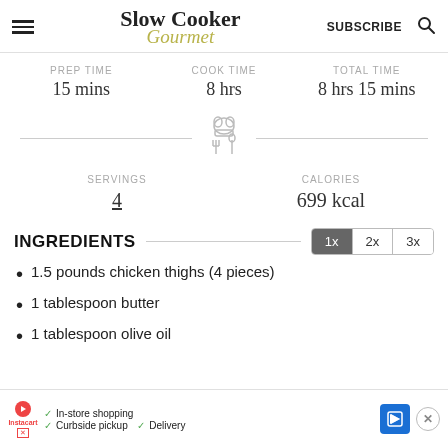Slow Cooker Gourmet | SUBSCRIBE
| PREP TIME | COOK TIME | TOTAL TIME |
| --- | --- | --- |
| 15 mins | 8 hrs | 8 hrs 15 mins |
[Figure (illustration): Chef hat and crossed utensils icon in light grey]
| SERVINGS | CALORIES |
| --- | --- |
| 4 | 699 kcal |
INGREDIENTS
1.5 pounds chicken thighs (4 pieces)
1 tablespoon butter
1 tablespoon olive oil
In-store shopping   Curbside pickup   Delivery